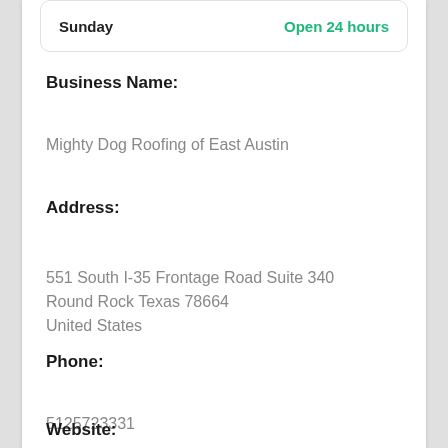Sunday | Open 24 hours
Business Name:
Mighty Dog Roofing of East Austin
Address:
551 South I-35 Frontage Road Suite 340
Round Rock Texas 78664
United States
Phone:
5125723331
Website: